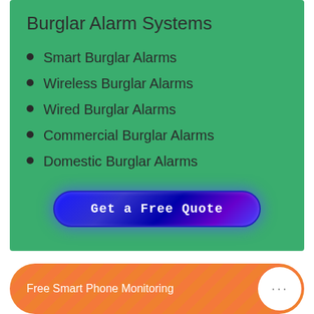Burglar Alarm Systems
Smart Burglar Alarms
Wireless Burglar Alarms
Wired Burglar Alarms
Commercial Burglar Alarms
Domestic Burglar Alarms
Get a Free Quote
Free Smart Phone Monitoring